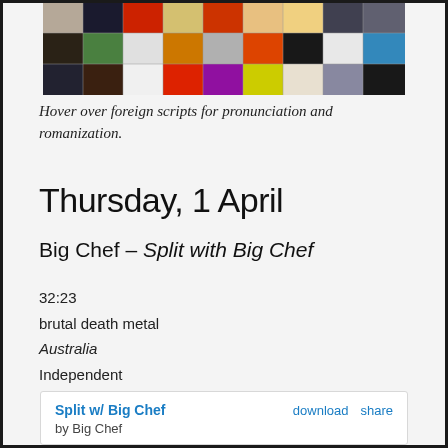[Figure (photo): Collage grid of album covers arranged in a 9x3 mosaic]
Hover over foreign scripts for pronunciation and romanization.
Thursday, 1 April
Big Chef – Split with Big Chef
32:23
brutal death metal
Australia
Independent
| Split w/ Big Chef | download | share |
| --- | --- | --- |
| by Big Chef |  |  |